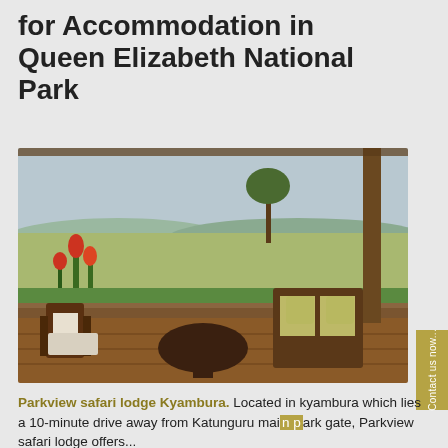for Accommodation in Queen Elizabeth National Park
[Figure (photo): Photo of a safari lodge terrace with wooden furniture, cushioned chairs, and a panoramic view of the savannah landscape with trees and flowering plants at Queen Elizabeth National Park]
Contact us now...
Parkview safari lodge Kyambura. Located in kyambura which lies a 10-minute drive away from Katunguru main park gate, Parkview safari lodge offers...